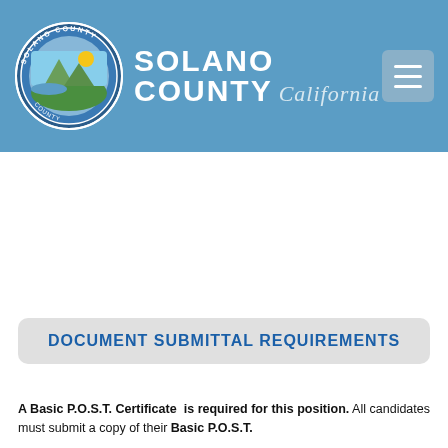SOLANO COUNTY California
DOCUMENT SUBMITTAL REQUIREMENTS
A Basic P.O.S.T. Certificate is required for this position. All candidates must submit a copy of their Basic P.O.S.T.